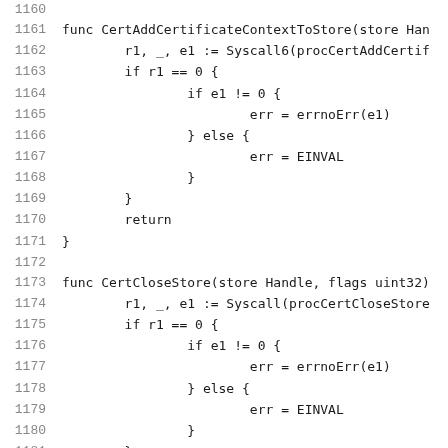Code listing lines 1160-1181 showing Go functions CertAddCertificateContextToStore and CertCloseStore with error handling logic using Syscall6 and Syscall respectively.